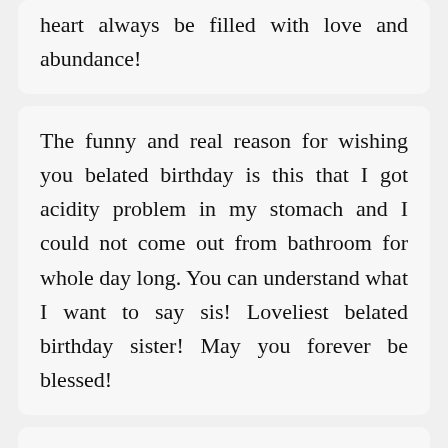heart always be filled with love and abundance!
The funny and real reason for wishing you belated birthday is this that I got acidity problem in my stomach and I could not come out from bathroom for whole day long. You can understand what I want to say sis! Loveliest belated birthday sister! May you forever be blessed!
You must have enjoyed your birthday party with friends and family. Next time I will be there too with you cutting your cake and hugging you with love. May you always have that subtle smile on